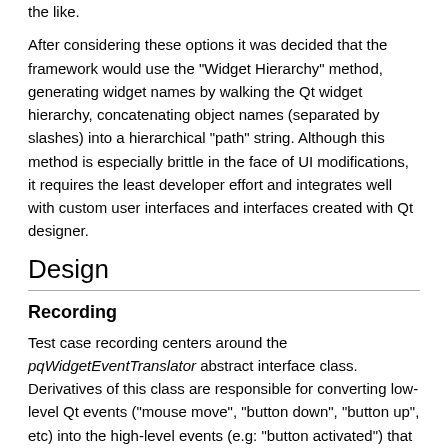the like.
After considering these options it was decided that the framework would use the "Widget Hierarchy" method, generating widget names by walking the Qt widget hierarchy, concatenating object names (separated by slashes) into a hierarchical "path" string. Although this method is especially brittle in the face of UI modifications, it requires the least developer effort and integrates well with custom user interfaces and interfaces created with Qt designer.
Design
Recording
Test case recording centers around the pqWidgetEventTranslator abstract interface class. Derivatives of this class are responsible for converting low-level Qt events ("mouse move", "button down", "button up", etc) into the high-level events (e.g: "button activated") that can be serialized and played back. pqWidgetEventTranslator derivatives may be particular to a specific widget type, such as pqComboBoxEventTranslator, or may represent a class of related widgets, such as pqAbstractSliderEventTranslator, which can translate events for any widget that derives from QAbstractSlider, including QDial, QScrollBar, and QSlider. pqWidgetEventTranslator derivatives implement the translateEvent() method, where they determine whether they can handle a Qt event, and if they can, convert it into a high-